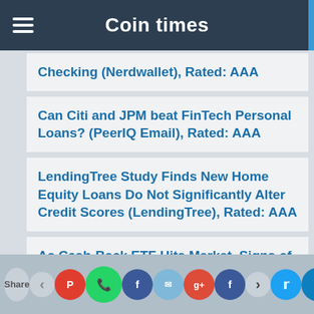Coin times
Checking (Nerdwallet), Rated: AAA
Can Citi and JPM beat FinTech Personal Loans? (PeerIQ Email), Rated: AAA
LendingTree Study Finds New Home Equity Loans Do Not Significantly Alter Credit Scores (LendingTree), Rated: AAA
As Cash-Back ETF Hits Market, Signs of Trouble Start to Mount
Share